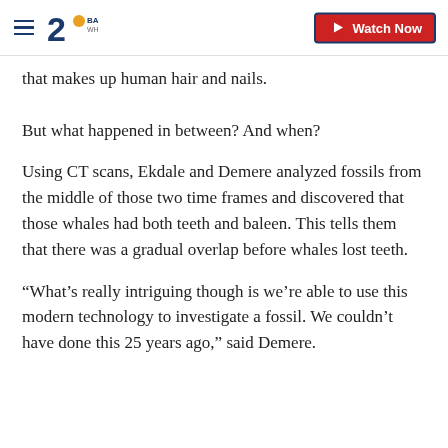20 BALTIMORE WHAR | Watch Now
that makes up human hair and nails.
But what happened in between? And when?
Using CT scans, Ekdale and Demere analyzed fossils from the middle of those two time frames and discovered that those whales had both teeth and baleen. This tells them that there was a gradual overlap before whales lost teeth.
“What’s really intriguing though is we’re able to use this modern technology to investigate a fossil. We couldn’t have done this 25 years ago,” said Demere.